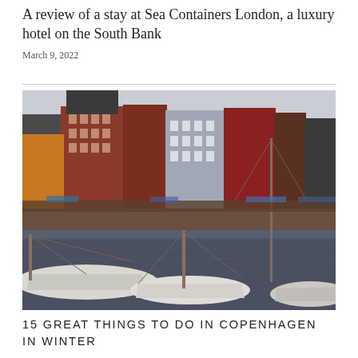A review of a stay at Sea Containers London, a luxury hotel on the South Bank
March 9, 2022
[Figure (photo): Colorful historic buildings along the Nyhavn canal waterfront in Copenhagen, with traditional wooden sailing boats moored in the foreground on grey water under an overcast sky.]
15 GREAT THINGS TO DO IN COPENHAGEN IN WINTER